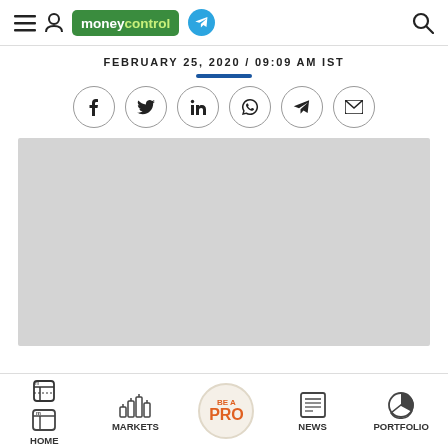moneycontrol — header with hamburger, user, logo, telegram, search icons
FEBRUARY 25, 2020 / 09:09 AM IST
[Figure (infographic): Social sharing icons row: Facebook, Twitter, LinkedIn, WhatsApp, Telegram, Email]
[Figure (photo): Gray placeholder image area]
HOME | MARKETS | BE A PRO | NEWS | PORTFOLIO — bottom navigation bar